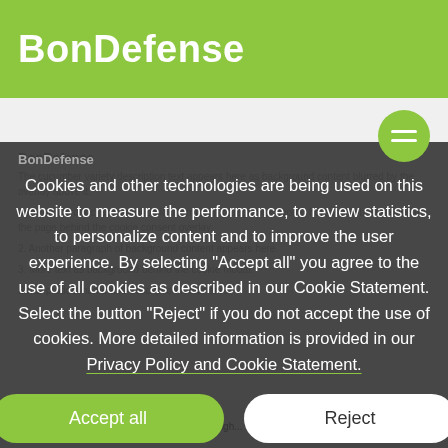BonDefense
BonDefense
Cookies and other technologies are being used on this website to measure the performance, to review statistics, to personalize content and to improve the user experience. By selecting "Accept all" you agree to the use of all cookies as described in our Cookie Statement. Select the button "Reject" if you do not accept the use of cookies. More detailed information is provided in our Privacy Policy and Cookie Statement.
Accept all
Reject
High re...
The BonDefense cucumber varieties have a high...